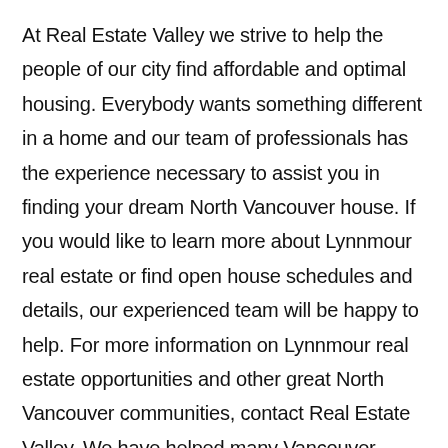At Real Estate Valley we strive to help the people of our city find affordable and optimal housing. Everybody wants something different in a home and our team of professionals has the experience necessary to assist you in finding your dream North Vancouver house. If you would like to learn more about Lynnmour real estate or find open house schedules and details, our experienced team will be happy to help. For more information on Lynnmour real estate opportunities and other great North Vancouver communities, contact Real Estate Valley. We have helped many Vancouver residents purchase their first house or condo and we can do the same for you.